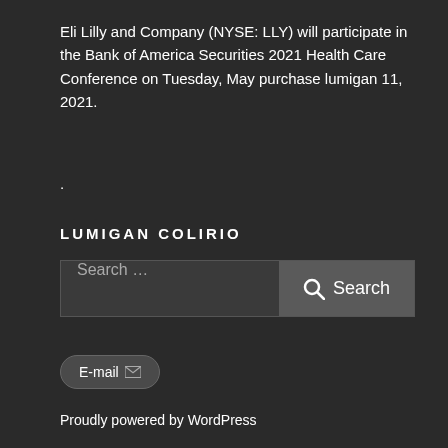Eli Lilly and Company (NYSE: LLY) will participate in the Bank of America Securities 2021 Health Care Conference on Tuesday, May purchase lumigan 11, 2021.
.
LUMIGAN COLIRIO
[Figure (other): Search bar with text input field labeled 'Search ...' and a Search button with magnifying glass icon]
[Figure (other): E-mail button with envelope icon]
Proudly powered by WordPress